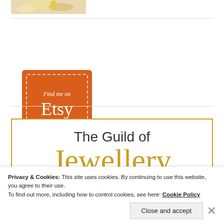[Figure (photo): Partial top image strip showing a decorative/jewelry item with warm gold and cream tones]
[Figure (logo): Find me on Etsy badge — orange square with dashed white border, italic 'Find me on' text and large 'Etsy' text in white]
[Figure (logo): The Guild of Jewellery logo — gold-bordered box with dark grey 'The Guild of' text and large gold 'Jewellery' text]
Privacy & Cookies: This site uses cookies. By continuing to use this website, you agree to their use.
To find out more, including how to control cookies, see here: Cookie Policy
Close and accept